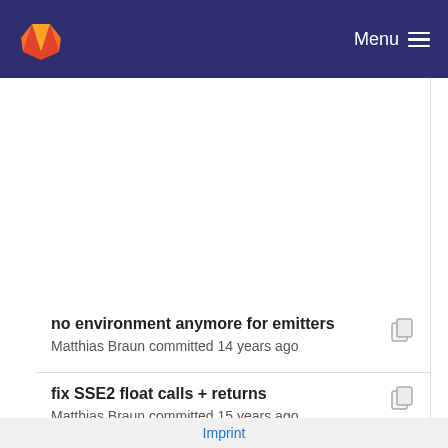GitLab Menu
no environment anymore for emitters
Matthias Braun committed 14 years ago
fix SSE2 float calls + returns
Matthias Braun committed 15 years ago
code cleanups
Imprint